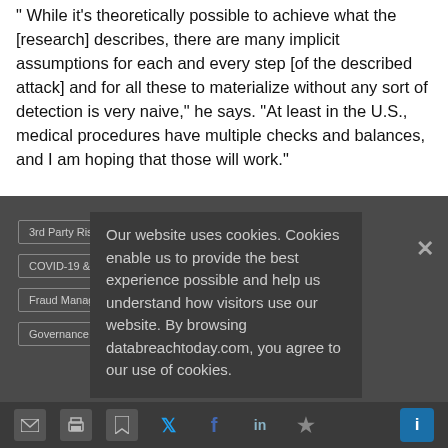" While it's theoretically possible to achieve what the [research] describes, there are many implicit assumptions for each and every step [of the described attack] and for all these to materialize without any sort of detection is very naive," he says. "At least in the U.S., medical procedures have multiple checks and balances, and I am hoping that those will work."
3rd Party Risk Management
API Security
COVID-19 & Cybercrime
Fraud Management & Cybercrime
Governance & Risk Management
Social Engineering
Our website uses cookies. Cookies enable us to provide the best experience possible and help us understand how visitors use our website. By browsing databreachtoday.com, you agree to our use of cookies.